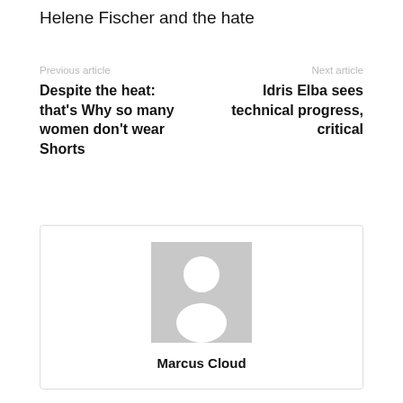Helene Fischer and the hate
Previous article
Next article
Despite the heat: that's Why so many women don't wear Shorts
Idris Elba sees technical progress, critical
[Figure (illustration): Generic user avatar placeholder image — grey square with white silhouette of a person (circle head and body shape)]
Marcus Cloud